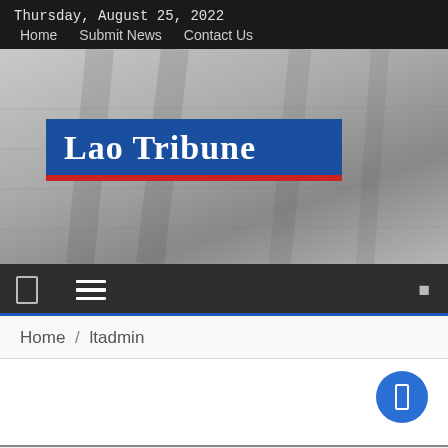Thursday, August 25, 2022  Home  Submit News  Contact Us
[Figure (logo): Lao Tribune newspaper logo: white bold serif text on blue background with red stripe beneath]
Navigation bar with hamburger menu icon and search icon
Home / ltadmin